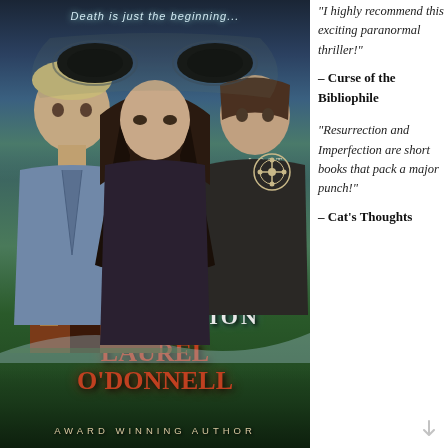[Figure (illustration): Book cover for 'Imperfection' by Laurel O'Donnell, Lost Souls series #2. Dark paranormal thriller cover featuring three characters (two men, one woman) with a giant supernatural alien face in the sky background and a barn in the lower portion. Text on cover: 'Death is just the beginning...', 'LOST SOULS 2', 'IMPERFECTION', 'LAUREL O'DONNELL', 'AWARD WINNING AUTHOR'.]
"I highly recommend this exciting paranormal thriller!"
– Curse of the Bibliophile
"Resurrection and Imperfection are short books that pack a major punch!"
– Cat's Thoughts